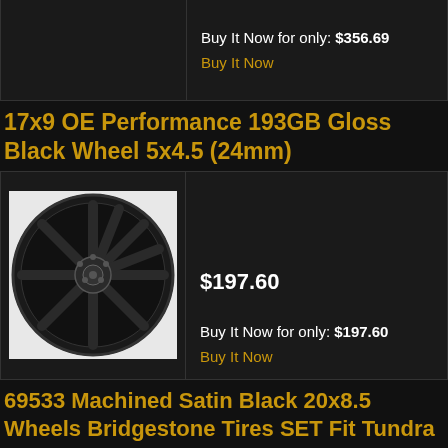Buy It Now for only: $356.69
Buy It Now
17x9 OE Performance 193GB Gloss Black Wheel 5x4.5 (24mm)
[Figure (photo): Gloss black multi-spoke alloy wheel on white background]
$197.60
Buy It Now for only: $197.60
Buy It Now
69533 Machined Satin Black 20x8.5 Wheels Bridgestone Tires SET Fit Tundra LX570
[Figure (photo): Machined satin black alloy wheel, partial view]